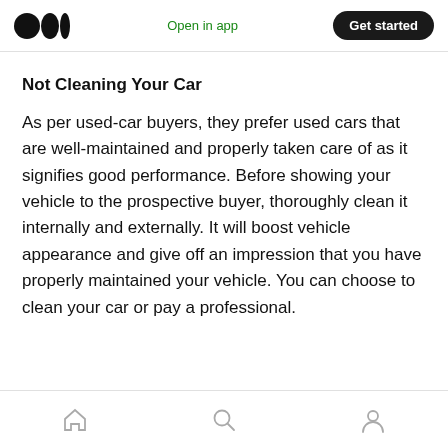Open in app | Get started
Not Cleaning Your Car
As per used-car buyers, they prefer used cars that are well-maintained and properly taken care of as it signifies good performance. Before showing your vehicle to the prospective buyer, thoroughly clean it internally and externally. It will boost vehicle appearance and give off an impression that you have properly maintained your vehicle. You can choose to clean your car or pay a professional.
Home | Search | Profile